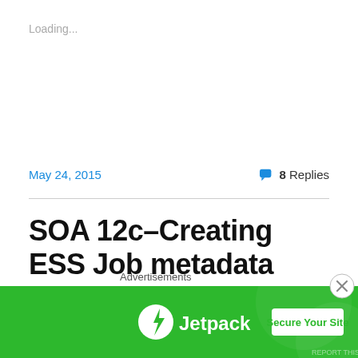Loading...
May 24, 2015
8 Replies
SOA 12c–Creating ESS Job metadata (EM Console)
In this post, We will use the EM Console to create ESS Job metadata  to call the Service Bus proxy services however the steps remain same for calling BPEL service too.
Advertisements
[Figure (logo): Jetpack advertisement banner with green background showing Jetpack logo and 'Secure Your Site' button]